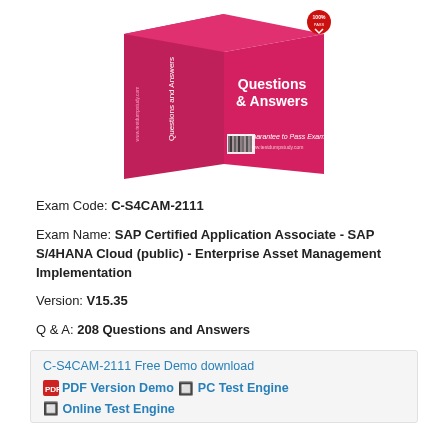[Figure (photo): Product box image showing a pink/red box with 'Questions & Answers' text and '100% Guarantee to Pass Exam' label with a barcode]
Exam Code: C-S4CAM-2111
Exam Name: SAP Certified Application Associate - SAP S/4HANA Cloud (public) - Enterprise Asset Management Implementation
Version: V15.35
Q & A: 208 Questions and Answers
C-S4CAM-2111 Free Demo download
PDF Version Demo  PC Test Engine